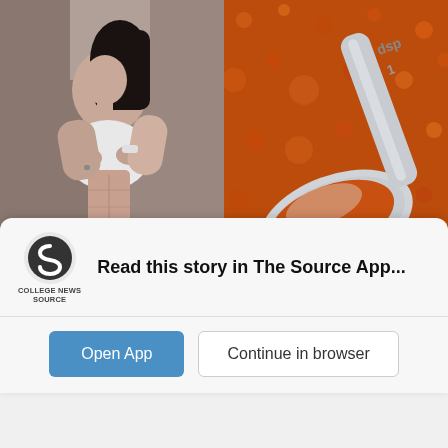[Figure (photo): Two side-by-side photos: left shows a fit woman lifting her white top to reveal toned abs; right shows a metal measuring spoon filled with orange/red spice powder on a bed of the same spice.]
Just 1 Teaspoon Burns Belly Fat Like Crazy!
🔥 1,632
Sponsored Ad
[Figure (logo): College News Source logo — circular icon with stylized S, text reads COLLEGE NEWS SOURCE]
Read this story in The Source App...
Open App
Continue in browser